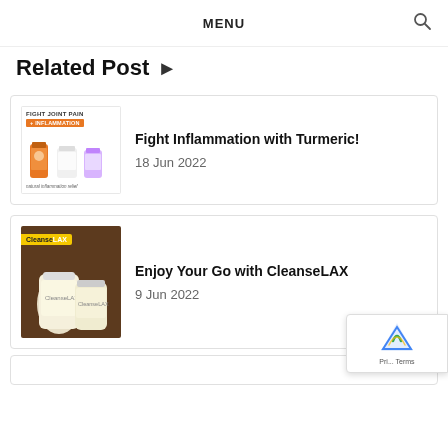MENU
Related Post ▶
[Figure (illustration): Turmeric supplement product image showing bottles with orange banner 'FIGHT JOINT PAIN + INFLAMMATION' text]
Fight Inflammation with Turmeric!
18 Jun 2022
[Figure (photo): CleanseLAX product bottles with ginger root on a dark background, yellow CleanseLAX badge overlay]
Enjoy Your Go with CleanseLAX
9 Jun 2022